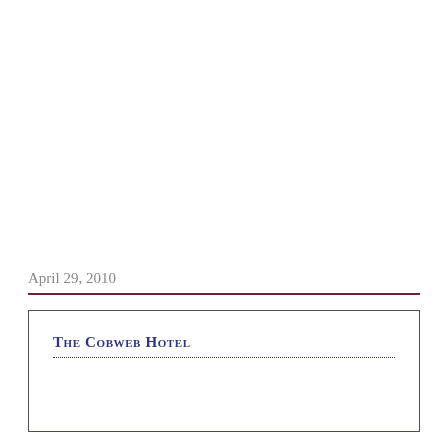April 29, 2010
The Cobweb Hotel